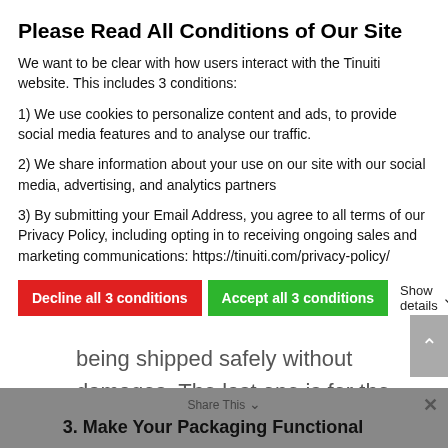Please Read All Conditions of Our Site
We want to be clear with how users interact with the Tinuiti website. This includes 3 conditions:
1) We use cookies to personalize content and ads, to provide social media features and to analyse our traffic.
2) We share information about your use on our site with our social media, advertising, and analytics partners
3) By submitting your Email Address, you agree to all terms of our Privacy Policy, including opting in to receiving ongoing sales and marketing communications: https://tinuiti.com/privacy-policy/
Decline all 3 conditions | Accept all 3 conditions | Show details
being shipped safely without damages. The last one is for the label.
3. Make Your Packaging Functional